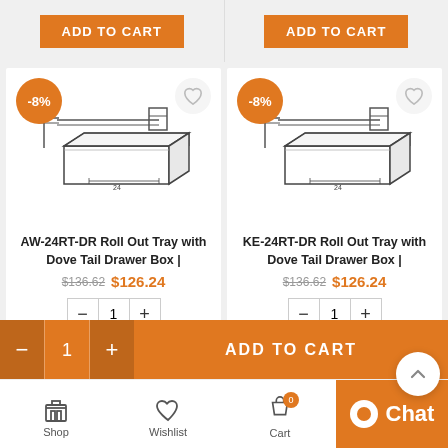[Figure (screenshot): ADD TO CART button (orange) for left product]
[Figure (screenshot): ADD TO CART button (orange) for right product]
[Figure (illustration): Product image: AW-24RT-DR Roll Out Tray with Dove Tail Drawer Box, showing a drawer box with slides, line drawing style]
AW-24RT-DR Roll Out Tray with Dove Tail Drawer Box |
$136.62 $126.24
[Figure (illustration): Product image: KE-24RT-DR Roll Out Tray with Dove Tail Drawer Box, showing a drawer box with slides, line drawing style]
KE-24RT-DR Roll Out Tray with Dove Tail Drawer Box |
$136.62 $126.24
ADD TO CART
Shop   Wishlist   Cart   My Account   Chat